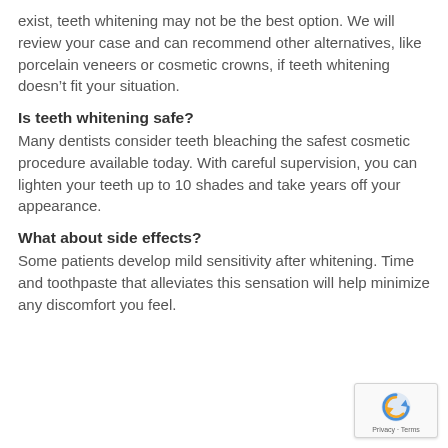exist, teeth whitening may not be the best option. We will review your case and can recommend other alternatives, like porcelain veneers or cosmetic crowns, if teeth whitening doesn't fit your situation.
Is teeth whitening safe?
Many dentists consider teeth bleaching the safest cosmetic procedure available today. With careful supervision, you can lighten your teeth up to 10 shades and take years off your appearance.
What about side effects?
Some patients develop mild sensitivity after whitening. Time and toothpaste that alleviates this sensation will help minimize any discomfort you feel.